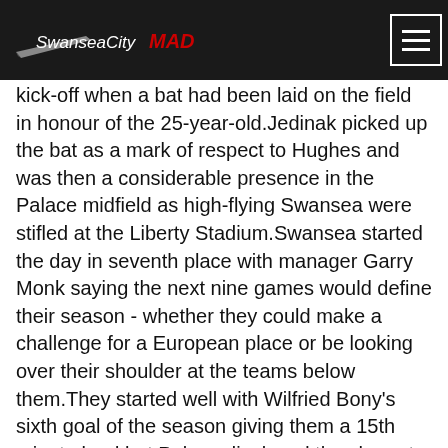SwanseaCity MAD
kick-off when a bat had been laid on the field in honour of the 25-year-old.Jedinak picked up the bat as a mark of respect to Hughes and was then a considerable presence in the Palace midfield as high-flying Swansea were stifled at the Liberty Stadium.Swansea started the day in seventh place with manager Garry Monk saying the next nine games would define their season - whether they could make a challenge for a European place or be looking over their shoulder at the teams below them.They started well with Wilfried Bony's sixth goal of the season giving them a 15th minute lead but Palace displayed the character and resolve which earned them a 3-1 victory over Liverpool in their previous fixture.Palace equalised after 25 minutes when Marouane Chamakh fell under minimal contact from Jonjo Shelvey and Jedinak scored for the second consecutive game to earn the visitors a point.Eagles manager Neil Warnock said before the game that Monk